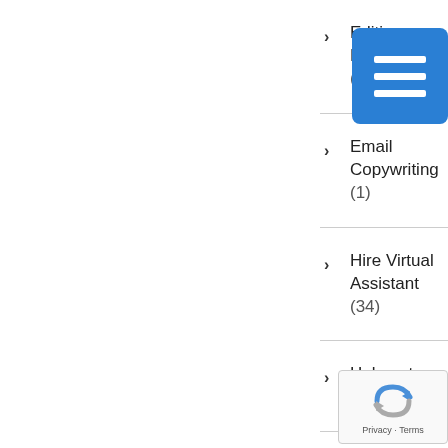Editing Proofreading (1)
Email Copywriting (1)
Hire Virtual Assistant (34)
Hubspot (1)
HubSpot Consulting (1)